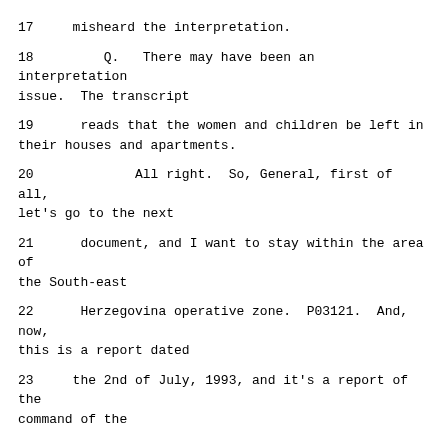17     misheard the interpretation.
18         Q.   There may have been an interpretation issue.  The transcript
19      reads that the women and children be left in their houses and apartments.
20             All right.  So, General, first of all, let's go to the next
21      document, and I want to stay within the area of the South-east
22      Herzegovina operative zone.  P03121.  And, now, this is a report dated
23     the 2nd of July, 1993, and it's a report of the command of the